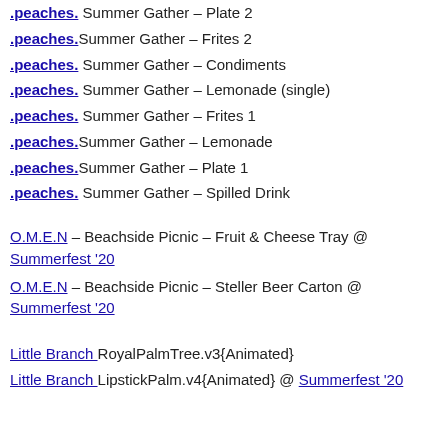.peaches. Summer Gather – Plate 2
.peaches. Summer Gather – Frites 2
.peaches. Summer Gather – Condiments
.peaches. Summer Gather – Lemonade (single)
.peaches. Summer Gather – Frites 1
.peaches. Summer Gather – Lemonade
.peaches. Summer Gather – Plate 1
.peaches. Summer Gather – Spilled Drink
O.M.E.N – Beachside Picnic – Fruit & Cheese Tray @ Summerfest '20
O.M.E.N – Beachside Picnic – Steller Beer Carton @ Summerfest '20
Little Branch RoyalPalmTree.v3{Animated}
Little Branch LipstickPalm.v4{Animated} @ Summerfest '20